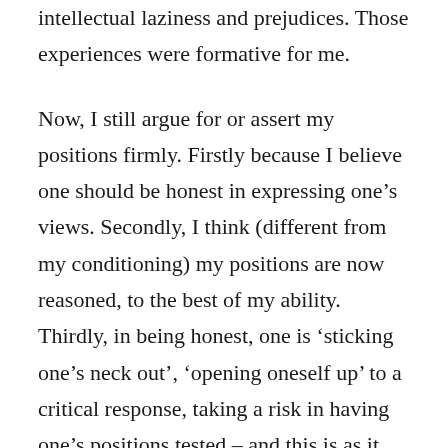intellectual laziness and prejudices. Those experiences were formative for me.
Now, I still argue for or assert my positions firmly. Firstly because I believe one should be honest in expressing one’s views. Secondly, I think (different from my conditioning) my positions are now reasoned, to the best of my ability. Thirdly, in being honest, one is ‘sticking one’s neck out’, ‘opening oneself up’ to a critical response, taking a risk in having one’s positions tested – and this is as it should be. Which brings me to my fourth point – the lesson I got from my aunt – to always not only be prepared to listen to